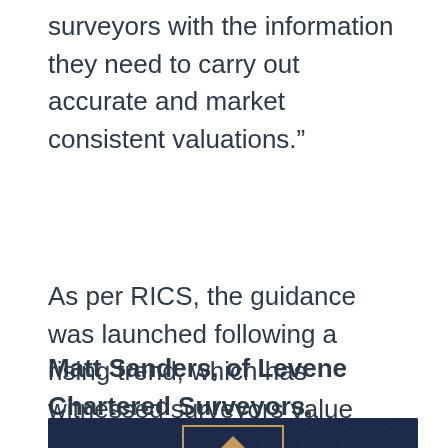surveyors with the information they need to carry out accurate and market consistent valuations.”
As per RICS, the guidance was launched following a rising trend, which has witnessed surveyors value new builds differently to older homes.
Matt Sanders, of Levene Chartered Surveyors, mentioned:
[Figure (logo): Dark navy blue branded image with a geometric house/building logo and decorative diamond pattern background, partially visible at bottom of page]